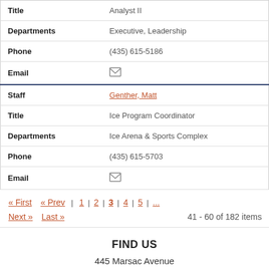| Field | Value |
| --- | --- |
| Title | Analyst II |
| Departments | Executive, Leadership |
| Phone | (435) 615-5186 |
| Email | [icon] |
| Staff | Genther, Matt |
| Title | Ice Program Coordinator |
| Departments | Ice Arena & Sports Complex |
| Phone | (435) 615-5703 |
| Email | [icon] |
« First  « Prev  |  1  |  2  |  3  |  4  |  5  |  ...  Next »  Last »  41 - 60 of 182 items
FIND US
445 Marsac Avenue